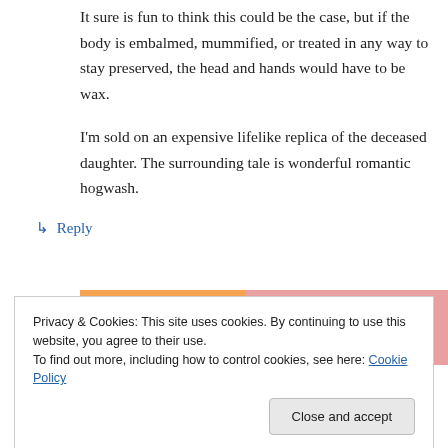It sure is fun to think this could be the case, but if the body is embalmed, mummified, or treated in any way to stay preserved, the head and hands would have to be wax.
I'm sold on an expensive lifelike replica of the deceased daughter. The surrounding tale is wonderful romantic hogwash.
↳ Reply
[Figure (other): Partial advertisement banner with orange and pink gradient background, showing text 'in the back.' in bold serif font]
Privacy & Cookies: This site uses cookies. By continuing to use this website, you agree to their use.
To find out more, including how to control cookies, see here: Cookie Policy
Close and accept